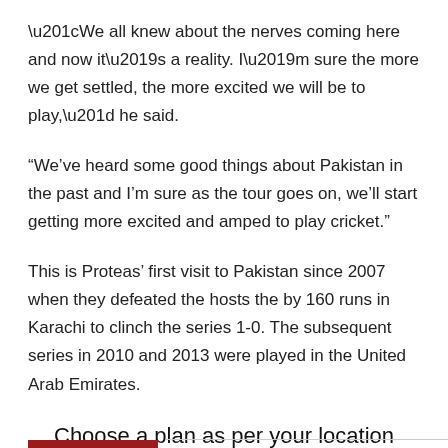“We all knew about the nerves coming here and now it’s a reality. I’m sure the more we get settled, the more excited we will be to play,” he said.
“We’ve heard some good things about Pakistan in the past and I’m sure as the tour goes on, we’ll start getting more excited and amped to play cricket.”
This is Proteas’ first visit to Pakistan since 2007 when they defeated the hosts the by 160 runs in Karachi to clinch the series 1-0. The subsequent series in 2010 and 2013 were played in the United Arab Emirates.
Choose a plan as per your location